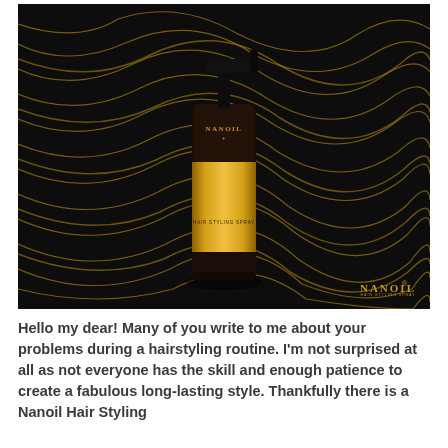[Figure (photo): Product photo of Nanoil Hair Styling Spray bottle with black pump top and gold label, set against a dark black background with flowing gold wave lines. Nanoil brand logo visible in bottom right corner.]
Hello my dear! Many of you write to me about your problems during a hairstyling routine. I'm not surprised at all as not everyone has the skill and enough patience to create a fabulous long-lasting style. Thankfully there is a Nanoil Hair Styling